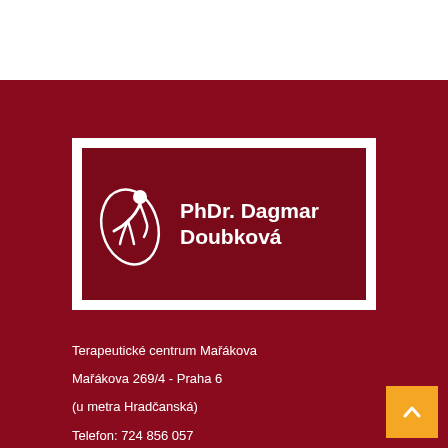[Figure (logo): Logo of PhDr. Dagmar Doubková with a stylized figure on dark red background with white text]
Terapeutické centrum Mařákova
Mařákova 269/4 - Praha 6
(u metra Hradčanská)
Telefon: 724 856 057
Email: dagmar.doubkova@seznam.cz